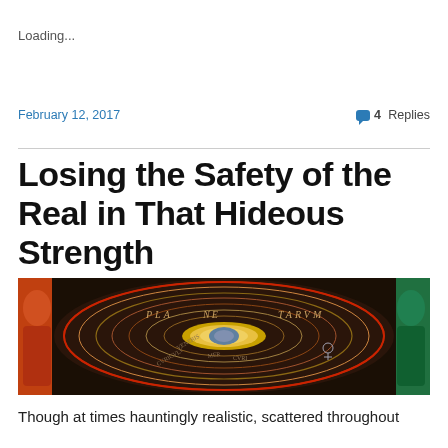Loading...
February 12, 2017
4 Replies
Losing the Safety of the Real in That Hideous Strength
[Figure (illustration): A historic geocentric/heliocentric planetary diagram (Planétarum) showing concentric orbital circles with a central celestial body, annotated with Latin text including 'PLANETARVM', depicting a classical astronomical map with figures at the edges.]
Though at times hauntingly realistic, scattered throughout